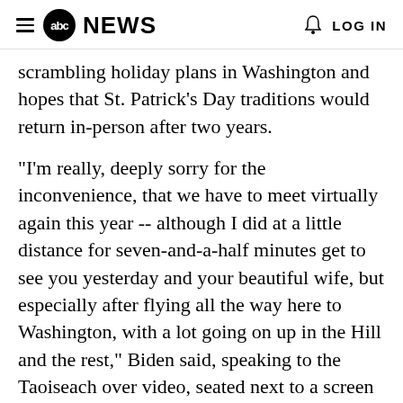abc NEWS  LOG IN
scrambling holiday plans in Washington and hopes that St. Patrick's Day traditions would return in-person after two years.
"I'm really, deeply sorry for the inconvenience, that we have to meet virtually again this year -- although I did at a little distance for seven-and-a-half minutes get to see you yesterday and your beautiful wife, but especially after flying all the way here to Washington, with a lot going on up in the Hill and the rest," Biden said, speaking to the Taoiseach over video, seated next to a screen in the Oval Office.
Biden said the two leaders were meeting "in a